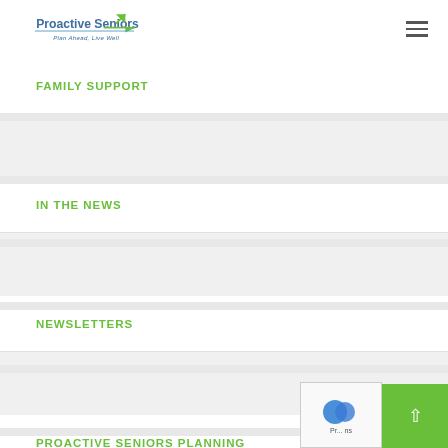Proactive Seniors — Plan Ahead, Live Well
FAMILY SUPPORT
IN THE NEWS
NEWSLETTERS
PROACTIVE SENIORS PLANNING
SENIORS HOUSING SUPPORT
UNCATEGORIZED
VIDEOS